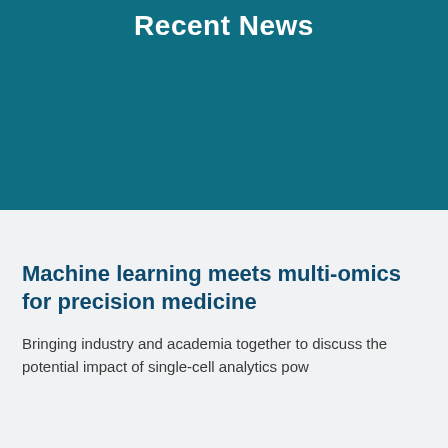Recent News
Machine learning meets multi-omics for precision medicine
Bringing industry and academia together to discuss the potential impact of single-cell analytics pow